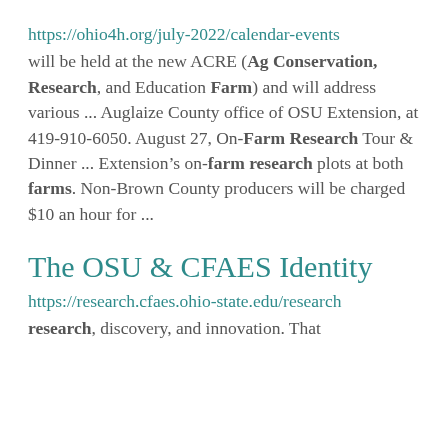https://ohio4h.org/july-2022/calendar-events will be held at the new ACRE (Ag Conservation, Research, and Education Farm) and will address various ... Auglaize County office of OSU Extension, at 419-910-6050. August 27, On-Farm Research Tour & Dinner ... Extension’s on-farm research plots at both farms. Non-Brown County producers will be charged $10 an hour for ...
The OSU & CFAES Identity
https://research.cfaes.ohio-state.edu/research research, discovery, and innovation. That